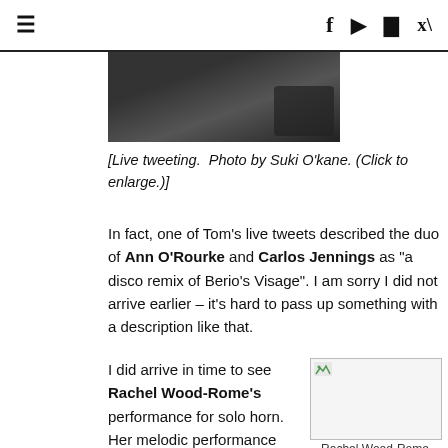≡  f  ▶  📷  🐦
[Figure (photo): Top portion of a photo showing what appears to be a phone or device being used for live tweeting, dark background]
[Live tweeting.  Photo by Suki O'kane. (Click to enlarge.)]
In fact, one of Tom's live tweets described the duo of Ann O'Rourke and Carlos Jennings as "a disco remix of Berio's Visage". I am sorry I did not arrive earlier – it's hard to pass up something with a description like that.
I did arrive in time to see Rachel Wood-Rome's performance for solo horn. Her melodic performance seemed like a snippet from a 19th or early 20th century concerto, minus the orchestra. However, in listening I started to fill in an orchestral part myself. She then presented a
[Figure (photo): Photo of Rachel Wood-Rome, partially visible, with broken image icon in top left corner]
Rachel Wood-Rome